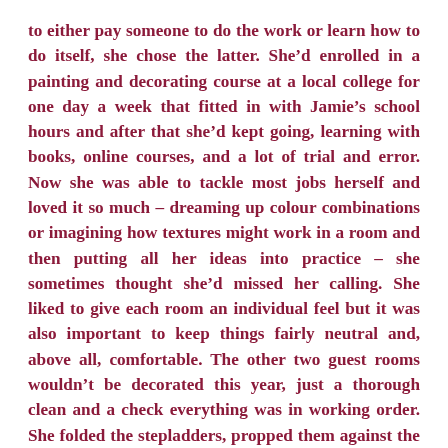to either pay someone to do the work or learn how to do itself, she chose the latter. She'd enrolled in a painting and decorating course at a local college for one day a week that fitted in with Jamie's school hours and after that she'd kept going, learning with books, online courses, and a lot of trial and error. Now she was able to tackle most jobs herself and loved it so much – dreaming up colour combinations or imagining how textures might work in a room and then putting all her ideas into practice – she sometimes thought she'd missed her calling. She liked to give each room an individual feel but it was also important to keep things fairly neutral and, above all, comfortable. The other two guest rooms wouldn't be decorated this year, just a thorough clean and a check everything was in working order. She folded the stepladders, propped them against the wall, and clicked off the radio just in time to hear the front door bang shut. 'Mum?' Eva felt herself relax at the sound of her son's voice. 'Up here! I'll be